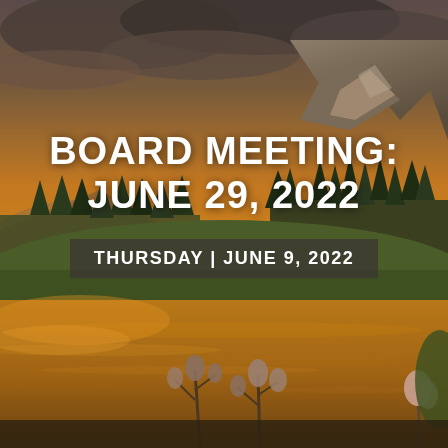[Figure (photo): Scenic mountain lake at sunset with rocky peaks, pine forest, wildflowers in foreground, dramatic cloudy sky with orange and golden hues reflecting on calm water.]
BOARD MEETING: JUNE 29, 2022
THURSDAY | JUNE 9, 2022